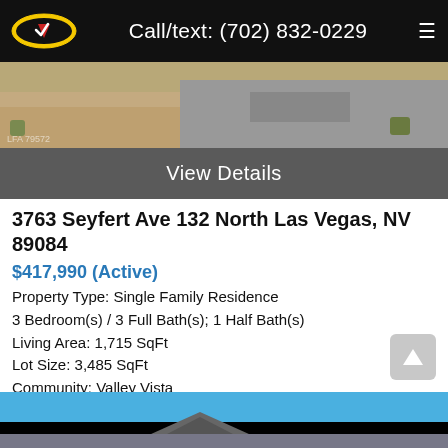Call/text: (702) 832-0229
[Figure (photo): Aerial/ground view of a residential property showing gravel landscaping and a shingled roof]
View Details
3763 Seyfert Ave 132 North Las Vegas, NV 89084
$417,990 (Active)
Property Type: Single Family Residence
3 Bedroom(s) / 3 Full Bath(s); 1 Half Bath(s)
Living Area: 1,715 SqFt
Lot Size: 3,485 SqFt
Community: Valley Vista
Brand new DR Horton Express Home backed by Fortune 500 Company. Aries Pointe community is newly opened in the master planned community of Valley Vista. Nicely appointed home with granite counters, st...
[Figure (photo): Bottom portion of another property listing photo showing blue sky and rooftop]